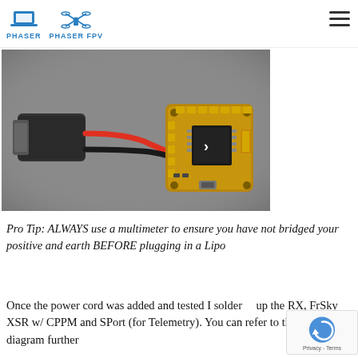PHASER | PHASER FPV
[Figure (photo): Photo of a drone flight controller PCB board (square, with gold pads and black chip) connected via red and black wires to a black XT connector/plug, resting on a grey surface.]
Pro Tip: ALWAYS use a multimeter to ensure you have not bridged your positive and earth BEFORE plugging in a Lipo
Once the power cord was added and tested I soldered up the RX, FrSky XSR w/ CPPM and SPort (for Telemetry). You can refer to the wiring diagram further